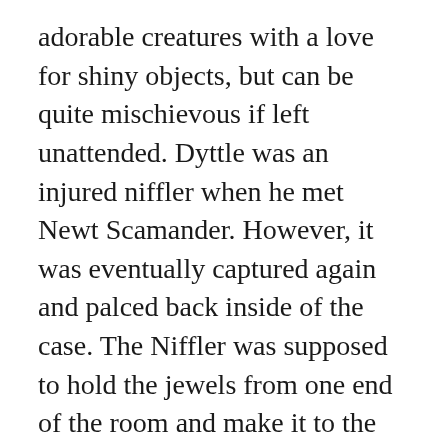adorable creatures with a love for shiny objects, but can be quite mischievous if left unattended. Dyttle was an injured niffler when he met Newt Scamander. However, it was eventually captured again and palced back inside of the case. The Niffler was supposed to hold the jewels from one end of the room and make it to the end of the room without Newt noticing it. Sounds perfect Wahhhh, I donât wanna. When Hagrid caught Gregory Goyle pocketing the gold, he explained that trying to steal it was pointless, as Leprechaun gold was worthless because it disappeared after a few hours. They get tossed into this mini home after they finally got captured and taken away from their mischievous playground. Next arrived